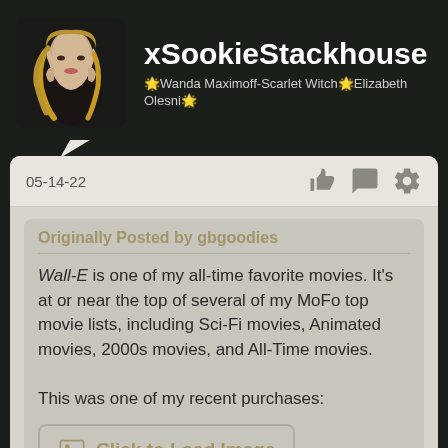[Figure (photo): Profile photo of a woman with blonde wavy hair wearing a black outfit, avatar for user xSookieStackhouse]
xSookieStackhouse
🌟Wanda Maximoff-Scarlet Witch🌟Elizabeth Olesni🌟
05-14-22
Originally Posted by gbgoodies
Wall-E is one of my all-time favorite movies. It's at or near the top of several of my MoFo top movie lists, including Sci-Fi movies, Animated movies, 2000s movies, and All-Time movies.

This was one of my recent purchases:
[Figure (other): Click to Load Image button with image placeholder icon]